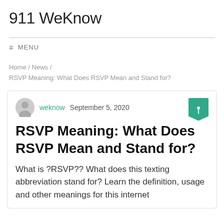911 WeKnow
≡  MENU
Home / News / RSVP Meaning: What Does RSVP Mean and Stand for?
weknow  September 5, 2020
RSVP Meaning: What Does RSVP Mean and Stand for?
What is ?RSVP?? What does this texting abbreviation stand for? Learn the definition, usage and other meanings for this internet